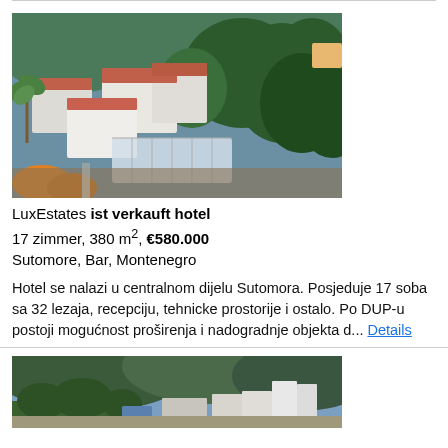[Figure (photo): Aerial view of hotel in Sutomore, Montenegro, surrounded by trees and palm trees, showing white buildings with terracotta roofs and a covered terrace area]
LuxEstates ist verkauft hotel
17 zimmer, 380 m², €580.000
Sutomore, Bar, Montenegro
Hotel se nalazi u centralnom dijelu Sutomora. Posjeduje 17 soba sa 32 lezaja, recepciju, tehnicke prostorije i ostalo. Po DUP-u postoji mogućnost proširenja i nadogradnje objekta d... Details
[Figure (photo): Aerial/wide view of a coastal town with mountains in the background, showing hotel buildings and urban development near the coast]